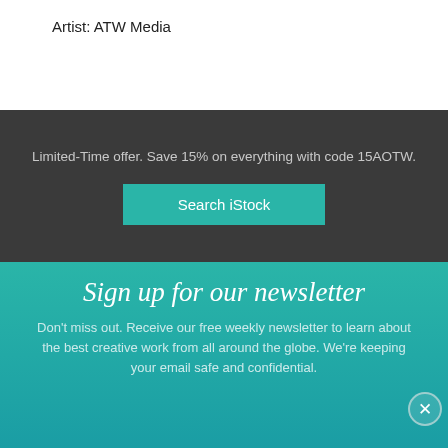Artist: ATW Media
Limited-Time offer. Save 15% on everything with code 15AOTW.
Search iStock
Sign up for our newsletter
Don't miss out. Receive our free weekly newsletter to learn about the best creative work from all around the globe. We're keeping your email safe and confidential.
[Figure (screenshot): Disney Bundle advertisement showing Hulu, Disney+, and ESPN+ logos with 'GET THE DISNEY BUNDLE' call-to-action button and fine print text.]